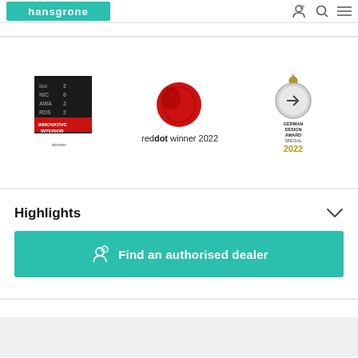hansgrone
[Figure (logo): Iconic Award 2022 Innovative Interior winner badge - black square with red accent]
[Figure (logo): Red Dot winner 2022 - red dot globe logo with text 'reddot winner 2022']
[Figure (logo): German Design Award Special 2022 - medal logo with text]
Highlights
Find an authorised dealer